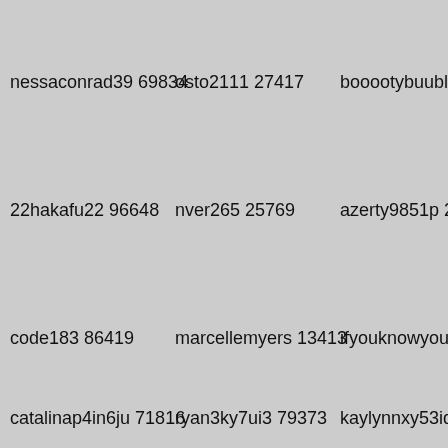nessaconrad39 69834
osto2111 27417
booootybuuble 11217
22hakafu22 96648
nver265 25769
azerty9851p 24293
code183 86419
marcellemyers 13413
ifyouknowyouknow96 7
catalinap4in6ju 71816
ryan3ky7ui3 79373
kaylynnxy53iqb 26652